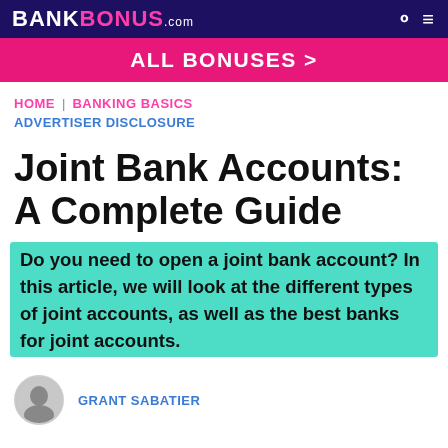BANKBONUS.com
ALL BONUSES >
HOME | BANKING BASICS
ADVERTISER DISCLOSURE
Joint Bank Accounts: A Complete Guide
Do you need to open a joint bank account? In this article, we will look at the different types of joint accounts, as well as the best banks for joint accounts.
GRANT SABATIER